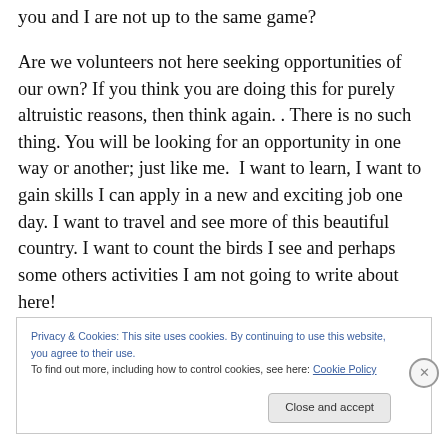you and I are not up to the same game?
Are we volunteers not here seeking opportunities of our own? If you think you are doing this for purely altruistic reasons, then think again. . There is no such thing. You will be looking for an opportunity in one way or another; just like me.  I want to learn, I want to gain skills I can apply in a new and exciting job one day. I want to travel and see more of this beautiful country. I want to count the birds I see and perhaps some others activities I am not going to write about here!
Privacy & Cookies: This site uses cookies. By continuing to use this website, you agree to their use.
To find out more, including how to control cookies, see here: Cookie Policy